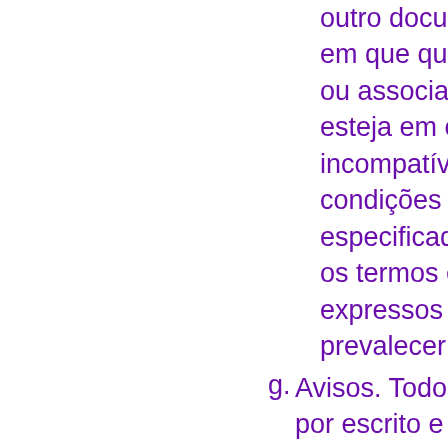outro documento(s), em que qualquer ou associada a es esteja em conflito incompatível com condições expres especificados nes os termos e condi expressos aqui co prevalecer e contr
g. Avisos. Todos os a por escrito e serão considerados dac enviada por fac-si confirmado, ou (ii) que foi entregue p